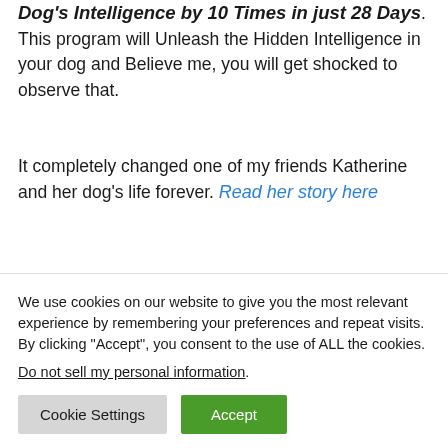Dog's Intelligence by 10 Times in just 28 Days. This program will Unleash the Hidden Intelligence in your dog and Believe me, you will get shocked to observe that.
It completely changed one of my friends Katherine and her dog's life forever. Read her story here
We use cookies on our website to give you the most relevant experience by remembering your preferences and repeat visits. By clicking "Accept", you consent to the use of ALL the cookies. Do not sell my personal information.